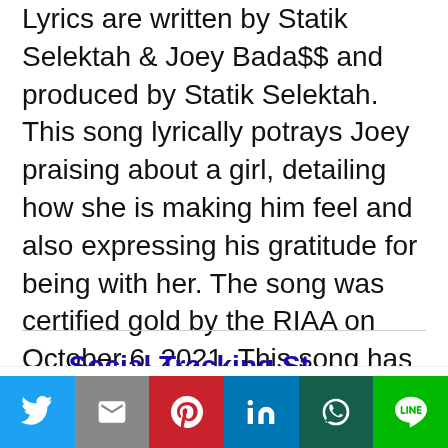Lyrics are written by Statik Selektah & Joey Bada$$ and produced by Statik Selektah. This song lyrically potrays Joey praising about a girl, detailing how she is making him feel and also expressing his gratitude for being with her. The song was certified gold by the RIAA on October 6, 2021. This song has released by Pro Era & Cinematic Music Group and the song released on 5th July, 2017. This is one of the famous song for Tiktok users.
...section header partially visible...
This website uses cookies.
Social share bar: Twitter, Gmail, Pinterest, LinkedIn, WhatsApp, LINE